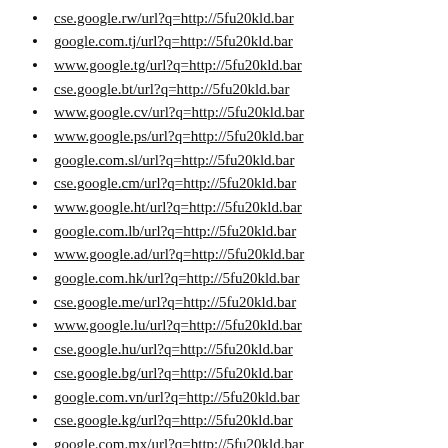cse.google.rw/url?q=http://5fu20kld.bar
google.com.tj/url?q=http://5fu20kld.bar
www.google.tg/url?q=http://5fu20kld.bar
cse.google.bt/url?q=http://5fu20kld.bar
www.google.cv/url?q=http://5fu20kld.bar
www.google.ps/url?q=http://5fu20kld.bar
google.com.sl/url?q=http://5fu20kld.bar
cse.google.cm/url?q=http://5fu20kld.bar
www.google.ht/url?q=http://5fu20kld.bar
google.com.lb/url?q=http://5fu20kld.bar
www.google.ad/url?q=http://5fu20kld.bar
google.com.hk/url?q=http://5fu20kld.bar
cse.google.me/url?q=http://5fu20kld.bar
www.google.lu/url?q=http://5fu20kld.bar
cse.google.hu/url?q=http://5fu20kld.bar
cse.google.bg/url?q=http://5fu20kld.bar
google.com.vn/url?q=http://5fu20kld.bar
cse.google.kg/url?q=http://5fu20kld.bar
google.com.mx/url?q=http://5fu20kld.bar